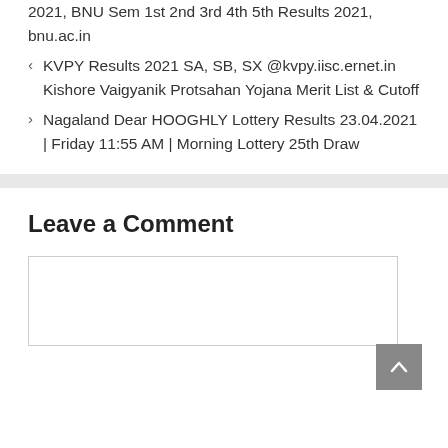2021, BNU Sem 1st 2nd 3rd 4th 5th Results 2021, bnu.ac.in
KVPY Results 2021 SA, SB, SX @kvpy.iisc.ernet.in Kishore Vaigyanik Protsahan Yojana Merit List & Cutoff
Nagaland Dear HOOGHLY Lottery Results 23.04.2021 | Friday 11:55 AM | Morning Lottery 25th Draw
Leave a Comment